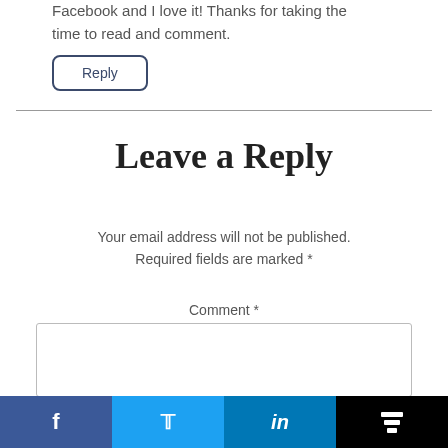Facebook and I love it! Thanks for taking the time to read and comment.
Reply
Leave a Reply
Your email address will not be published. Required fields are marked *
Comment *
[Figure (other): Social sharing bar with Facebook, Twitter, LinkedIn, and Buffer icons]